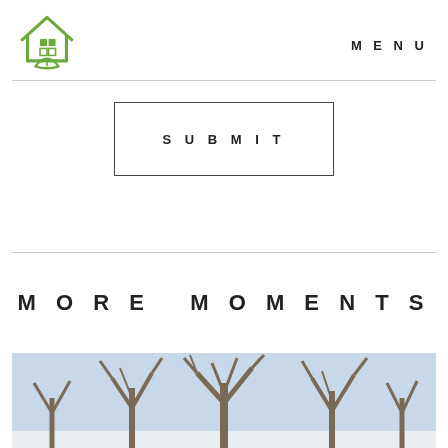[Figure (logo): Green house logo with a leaf at the base, outline style in green]
MENU
SUBMIT
MORE MOMENTS
[Figure (photo): Outdoor winter photo showing bare trees with branches against a light blue sky, snow visible at the bottom]